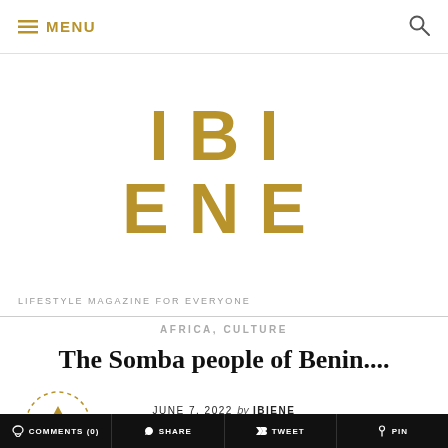MENU (navigation bar with search icon)
[Figure (logo): IBIENE magazine logo in gold/amber color, displayed as two rows: 'IBI' and 'ENE' in large bold uppercase letters]
LIFESTYLE MAGAZINE FOR EVERYONE
AFRICA, CULTURE
The Somba people of Benin....
JUNE 7, 2022 by IBIENE
COMMENTS (0)   SHARE   TWEET   PIN